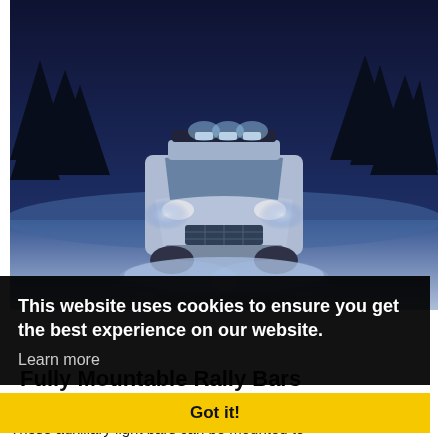[Figure (photo): An SUV/truck driving on a snowy road at dusk/night with bright auxiliary light bars on the roof and headlights on, surrounded by dark trees and a blue-tinted snowy landscape.]
This website uses cookies to ensure you get the best experience on our website.
Learn more
Fully Mountable Rally Bars
From Philips...
Got it!
These auxiliary light bars can be mounted to